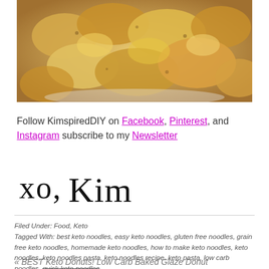[Figure (photo): Close-up photo of golden fried crispy keto noodles on a plate]
Follow KimspiredDIY on Facebook, Pinterest, and Instagram subscribe to my Newsletter
[Figure (illustration): Handwritten cursive signature reading 'xo, Kim']
Filed Under: Food, Keto
Tagged With: best keto noodles, easy keto noodles, gluten free noodles, grain free keto noodles, homemade keto noodles, how to make keto noodles, keto noodles, keto noodles pasta, keto noodles recipe, keto pasta, low carb noodles, quick keto noodles
« BEST Keto Donuts! Low Carb Baked Glaze Donut